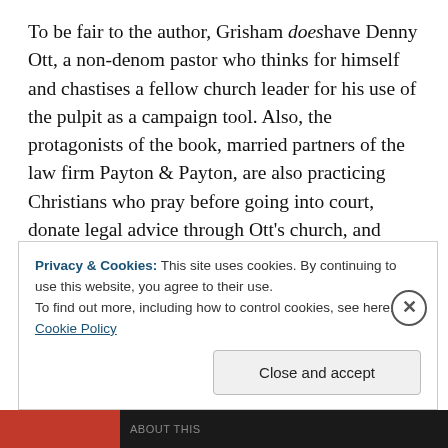To be fair to the author, Grisham does have Denny Ott, a non-denom pastor who thinks for himself and chastises a fellow church leader for his use of the pulpit as a campaign tool. Also, the protagonists of the book, married partners of the law firm Payton & Payton, are also practicing Christians who pray before going into court, donate legal advice through Ott's church, and sacrifice everything for what they believe is right; Krane should be held accountable for their heinous conduct that has destroyed the lives and even the town of Bowmore
Privacy & Cookies: This site uses cookies. By continuing to use this website, you agree to their use.
To find out more, including how to control cookies, see here: Cookie Policy
Close and accept